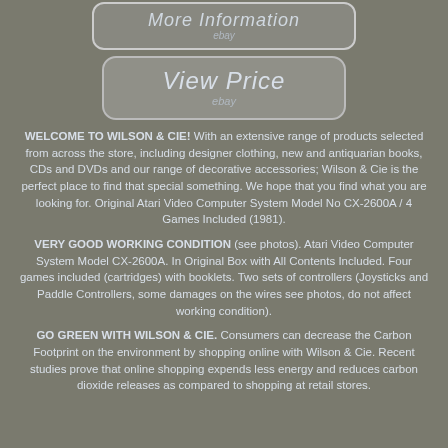[Figure (other): Button labeled 'More Information' with eBay branding below]
[Figure (other): Button labeled 'View Price' with eBay branding below]
WELCOME TO WILSON & CIE! With an extensive range of products selected from across the store, including designer clothing, new and antiquarian books, CDs and DVDs and our range of decorative accessories; Wilson & Cie is the perfect place to find that special something. We hope that you find what you are looking for. Original Atari Video Computer System Model No CX-2600A / 4 Games Included (1981).
VERY GOOD WORKING CONDITION (see photos). Atari Video Computer System Model CX-2600A. In Original Box with All Contents Included. Four games included (cartridges) with booklets. Two sets of controllers (Joysticks and Paddle Controllers, some damages on the wires see photos, do not affect working condition).
GO GREEN WITH WILSON & CIE. Consumers can decrease the Carbon Footprint on the environment by shopping online with Wilson & Cie. Recent studies prove that online shopping expends less energy and reduces carbon dioxide releases as compared to shopping at retail stores.